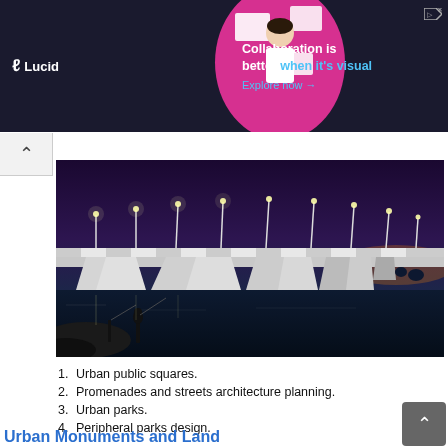[Figure (infographic): Lucid advertisement banner with dark navy background, pink circle graphic with woman at laptop, text 'Collaboration is better when it's visual. Explore now →']
[Figure (photo): Night photograph of a modern illuminated bridge over water with street lights and architectural supports, people fishing in foreground]
1. Urban public squares.
2. Promenades and streets architecture planning.
3. Urban parks.
4. Peripheral parks design.
Urban Monuments and Land